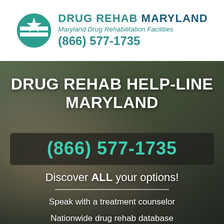[Figure (logo): Drug Rehab Maryland logo with circular green icon containing a star and stripe pattern, alongside brand name and phone number]
DRUG REHAB HELP-LINE MARYLAND
(866) 577-1735
Discover ALL your options!
Speak with a treatment counselor
Nationwide drug rehab database